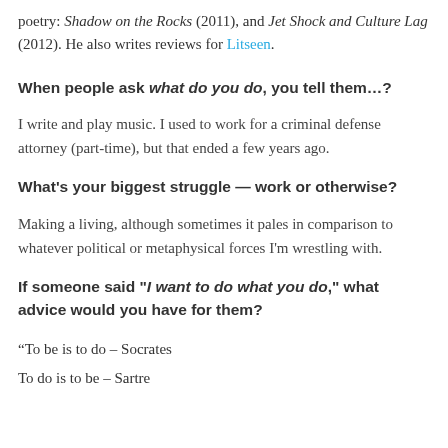poetry: Shadow on the Rocks (2011), and Jet Shock and Culture Lag (2012). He also writes reviews for Litseen.
When people ask what do you do, you tell them...?
I write and play music. I used to work for a criminal defense attorney (part-time), but that ended a few years ago.
What's your biggest struggle — work or otherwise?
Making a living, although sometimes it pales in comparison to whatever political or metaphysical forces I'm wrestling with.
If someone said "I want to do what you do," what advice would you have for them?
“To be is to do – Socrates
To do is to be – Sartre